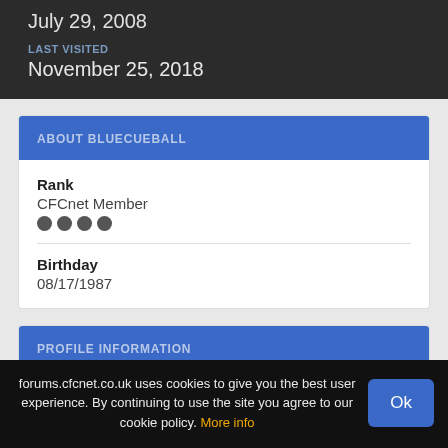July 29, 2008
LAST VISITED
November 25, 2018
ABOUT BLUECUEBALL
Rank
CFCnet Member
Birthday
08/17/1987
PROFILE INFORMATION
forums.cfcnet.co.uk uses cookies to give you the best user experience. By continuing to use the site you agree to our cookie policy. More info